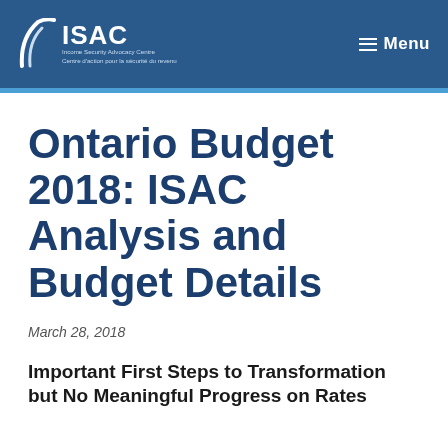ISAC — Income Security Advocacy Centre / Centre d'action pour la sécurité du revenu | Menu
Ontario Budget 2018: ISAC Analysis and Budget Details
March 28, 2018
Important First Steps to Transformation but No Meaningful Progress on Rates